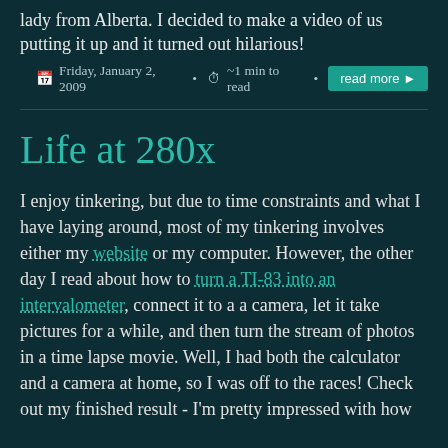lady from Alberta. I decided to make a video of us putting it up and it turned out hilarious!
Friday, January 2, 2009 • ~1 min to read • read more
Life at 280x
I enjoy tinkering, but due to time constraints and what I have laying around, most of my tinkering involves either my website or my computer. However, the other day I read about how to turn a TI-83 into an intervalometer, connect it to a a camera, let it take pictures for a while, and then turn the stream of photos in a time lapse movie. Well, I had both the calculator and a camera at home, so I was off to the races! Check out my finished result - I'm pretty impressed with how